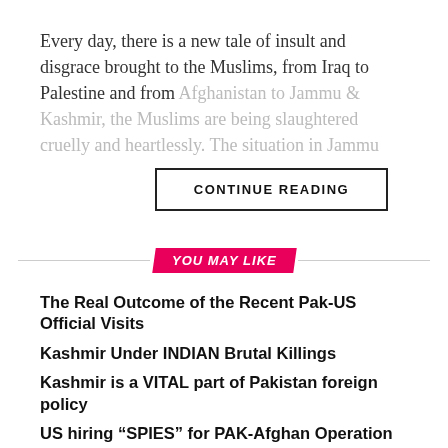Every day, there is a new tale of insult and disgrace brought to the Muslims, from Iraq to Palestine and from Afghanistan to Jammu & Kashmir, the Muslims are being slaughtered cruelly and heartlessly. The situation in Jammu...
CONTINUE READING
YOU MAY LIKE
The Real Outcome of the Recent Pak-US Official Visits
Kashmir Under INDIAN Brutal Killings
Kashmir is a VITAL part of Pakistan foreign policy
US hiring “SPIES” for PAK-Afghan Operation
Pakistan , India on Table First time after (MUMBAI ATTACKS)